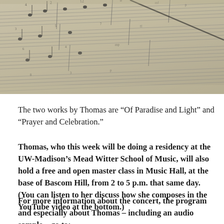[Figure (photo): Close-up photo of handwritten musical score sheets, showing staff lines with musical notation in ink, viewed at an angle]
The two works by Thomas are “Of Paradise and Light” and “Prayer and Celebration.”
Thomas, who this week will be doing a residency at the UW-Madison’s Mead Witter School of Music, will also hold a free and open master class in Music Hall, at the base of Bascom Hill, from 2 to 5 p.m. that same day. (You can listen to her discuss how she composes in the YouTube video at the bottom.)
For more information about the concert, the program and especially about Thomas – including an audio sample – go to: